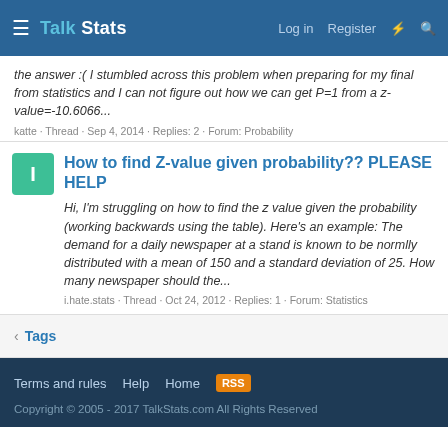Talk Stats | Log in | Register
the answer :( I stumbled across this problem when preparing for my final from statistics and I can not figure out how we can get P=1 from a z-value=-10.6066...
katte · Thread · Sep 4, 2014 · Replies: 2 · Forum: Probability
How to find Z-value given probability?? PLEASE HELP
Hi, I'm struggling on how to find the z value given the probability (working backwards using the table). Here's an example: The demand for a daily newspaper at a stand is known to be normlly distributed with a mean of 150 and a standard deviation of 25. How many newspaper should the...
i.hate.stats · Thread · Oct 24, 2012 · Replies: 1 · Forum: Statistics
< Tags
Terms and rules   Help   Home   RSS
Copyright © 2005 - 2017 TalkStats.com All Rights Reserved